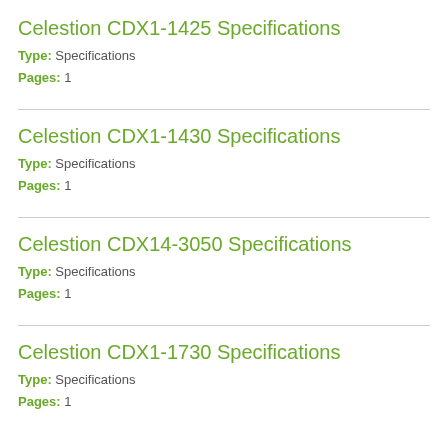Celestion CDX1-1425 Specifications
Type: Specifications
Pages: 1
Celestion CDX1-1430 Specifications
Type: Specifications
Pages: 1
Celestion CDX14-3050 Specifications
Type: Specifications
Pages: 1
Celestion CDX1-1730 Specifications
Type: Specifications
Pages: 1